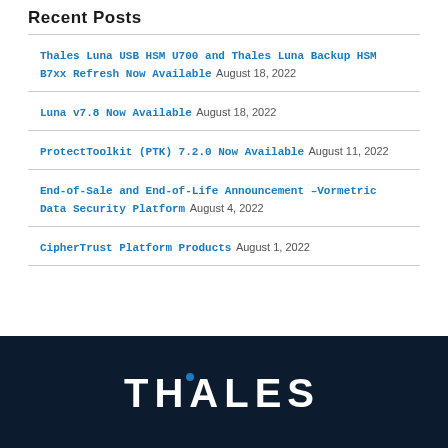Recent Posts
Thales Luna USB HSM U700 and Thales Luna Backup HSM B7xx Refresh Now Available August 18, 2022
Luna v7.8 Now Available August 18, 2022
ProtectToolkit (PTK) 7.2.0 Now Available August 11, 2022
End-of-Sale and End-of-Life Announcement –Vormetric Data Security Platform August 4, 2022
CipherTrust Platform Products August 1, 2022
[Figure (logo): Thales company logo in white text on dark navy background with a blue dot above the letter A]